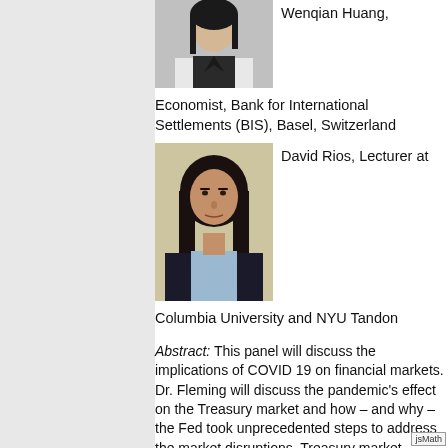[Figure (photo): Photo of Wenqian Huang, a woman in a white blazer and black top]
Wenqian Huang,
Economist, Bank for International Settlements (BIS), Basel, Switzerland
[Figure (photo): Photo of David Rios, a man with long dark hair in a dark suit]
David Rios, Lecturer at
Columbia University and NYU Tandon
Abstract: This panel will discuss the implications of COVID 19 on financial markets. Dr. Fleming will discuss the pandemic's effect on the Treasury market and how – and why – the Fed took unprecedented steps to address the market disruptions. Treasury market volatility and illiquidity jumped to unusually